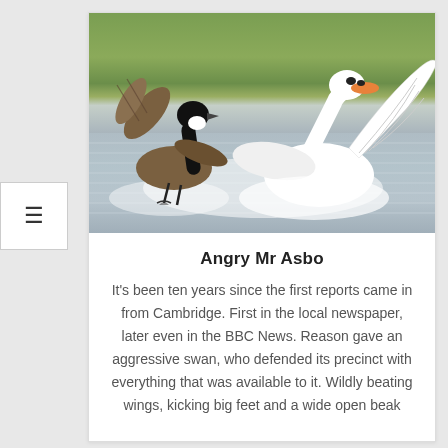[Figure (photo): Two birds on water: a Canada goose with wings spread on the left, and a large white mute swan with wings spread on the right, appearing to confront each other on a lake with a green reedy background.]
Angry Mr Asbo
It's been ten years since the first reports came in from Cambridge. First in the local newspaper, later even in the BBC News. Reason gave an aggressive swan, who defended its precinct with everything that was available to it. Wildly beating wings, kicking big feet and a wide open beak